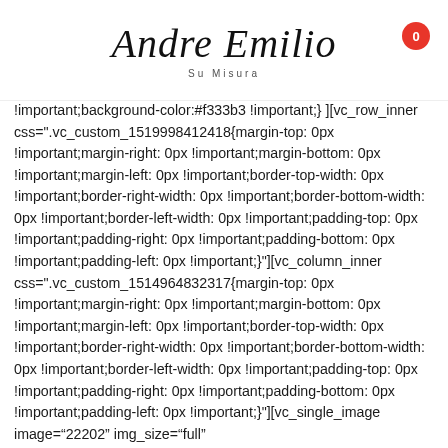Andre Emilio Su Misura
!important;background-color:#f333b3 !important;} ][vc_row_inner css=".vc_custom_1519998412418{margin-top: 0px !important;margin-right: 0px !important;margin-bottom: 0px !important;margin-left: 0px !important;border-top-width: 0px !important;border-right-width: 0px !important;border-bottom-width: 0px !important;border-left-width: 0px !important;padding-top: 0px !important;padding-right: 0px !important;padding-bottom: 0px !important;padding-left: 0px !important;}"][vc_column_inner css=".vc_custom_1514964832317{margin-top: 0px !important;margin-right: 0px !important;margin-bottom: 0px !important;margin-left: 0px !important;border-top-width: 0px !important;border-right-width: 0px !important;border-bottom-width: 0px !important;border-left-width: 0px !important;padding-top: 0px !important;padding-right: 0px !important;padding-bottom: 0px !important;padding-left: 0px !important;}"][vc_single_image image="22202" img_size="full" css=".vc_custom_1519998840845{margin-top: 0px !important;margin-bottom: 0px !important;border-top-width: 0px !important;border-bottom-width: 0px !important;padding-top: 0px !important;padding-